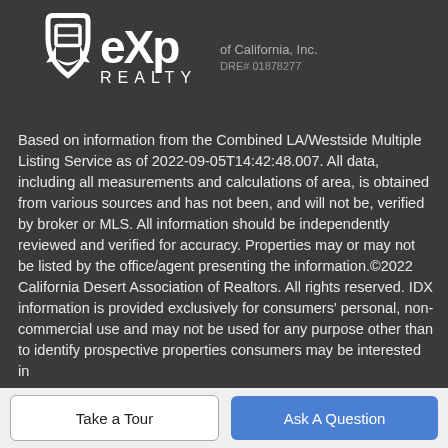[Figure (logo): eXp Realty logo with white icon and large eXp text on dark background, with 'of California, Inc.' and 'DRE# 01878277' below]
Based on information from the Combined LA/Westside Multiple Listing Service as of 2022-09-05T14:42:48.007. All data, including all measurements and calculations of area, is obtained from various sources and has not been, and will not be, verified by broker or MLS. All information should be independently reviewed and verified for accuracy. Properties may or may not be listed by the office/agent presenting the information.©2022 California Desert Association of Realtors. All rights reserved. IDX information is provided exclusively for consumers' personal, non-commercial use and may not be used for any purpose other than to identify prospective properties consumers may be interested in
Take a Tour
Ask A Question